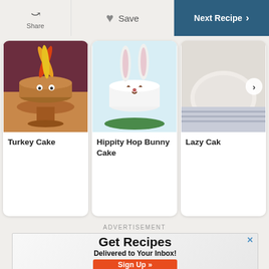[Figure (screenshot): Navigation bar with Share, Save (heart icon), and Next Recipe buttons]
[Figure (photo): Turkey Cake photo — chocolate frosted cake decorated as a turkey with candy corn feathers]
Turkey Cake
[Figure (photo): Hippity Hop Bunny Cake — white frosted cake shaped like a bunny face on a green cake stand]
Hippity Hop Bunny Cake
[Figure (photo): Lazy Cake — partially visible cake on a plate with striped napkin, with next arrow overlay]
Lazy Cak
ADVERTISEMENT
[Figure (screenshot): Advertisement banner: Get Recipes Delivered to Your Inbox! with Sign Up button]